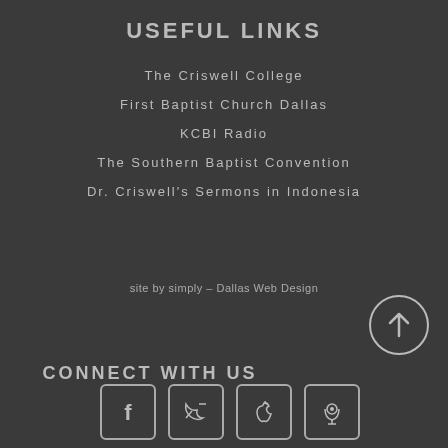USEFUL LINKS
The Criswell College
First Baptist Church Dallas
KCBI Radio
The Southern Baptist Convention
Dr. Criswell's Sermons in Indonesia
site by simply – Dallas Web Design
CONNECT WITH US
[Figure (illustration): Four social media icon buttons: Facebook, Twitter, Apple, Podcast, shown as square icons with rounded corners in outline style on dark background. Also an up-arrow circle button in lower right.]